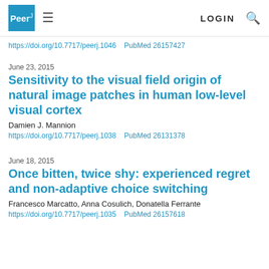PeerJ | LOGIN
https://doi.org/10.7717/peerj.1046    PubMed 26157427
June 23, 2015
Sensitivity to the visual field origin of natural image patches in human low-level visual cortex
Damien J. Mannion
https://doi.org/10.7717/peerj.1038    PubMed 26131378
June 18, 2015
Once bitten, twice shy: experienced regret and non-adaptive choice switching
Francesco Marcatto, Anna Cosulich, Donatella Ferrante
https://doi.org/10.7717/peerj.1035    PubMed 26157618